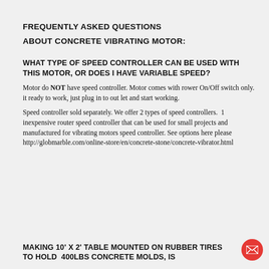FREQUENTLY ASKED QUESTIONS
ABOUT CONCRETE VIBRATING MOTOR:
WHAT TYPE OF SPEED CONTROLLER CAN BE USED WITH THIS MOTOR, OR DOES I HAVE VARIABLE SPEED?
Motor do NOT have speed controller. Motor comes with rower On/Off switch only. it ready to work, just plug in to out let and start working.
Speed controller sold separately. We offer 2 types of speed controllers.  1 inexpensive router speed controller that can be used for small projects and manufactured for vibrating motors speed controller. See options here please http://globmarble.com/online-store/en/concrete-stone/concrete-vibrator.html
MAKING 10' X 2' TABLE MOUNTED ON RUBBER TIRES TO HOLD  400LBS CONCRETE MOLDS, IS